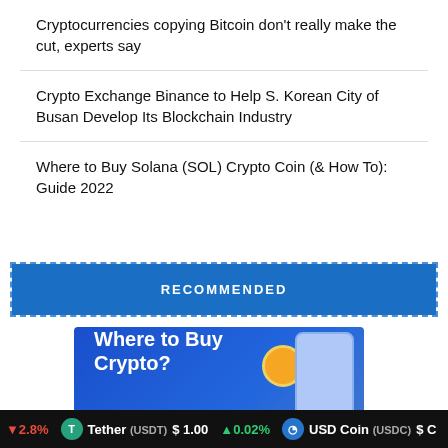Cryptocurrencies copying Bitcoin don't really make the cut, experts say
Crypto Exchange Binance to Help S. Korean City of Busan Develop Its Blockchain Industry
Where to Buy Solana (SOL) Crypto Coin (& How To): Guide 2022
RECOMMENDED
[Figure (illustration): Advertisement banner showing 'Where to Buy Crypto?' text with coin and phone graphics on a blue background]
▼2.8%  Tether (USDT)  $1.00  ▲0.02%  USD Coin (USDC)  $C